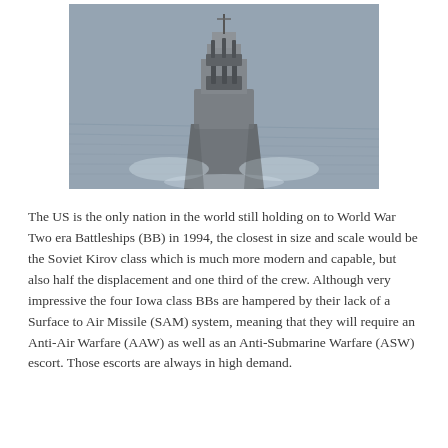[Figure (photo): Aerial front-facing photograph of a US Navy battleship (Iowa-class) at sea, viewed from above and ahead, with two gun turrets visible and ocean water surrounding the ship.]
The US is the only nation in the world still holding on to World War Two era Battleships (BB) in 1994, the closest in size and scale would be the Soviet Kirov class which is much more modern and capable, but also half the displacement and one third of the crew. Although very impressive the four Iowa class BBs are hampered by their lack of a Surface to Air Missile (SAM) system, meaning that they will require an Anti-Air Warfare (AAW) as well as an Anti-Submarine Warfare (ASW) escort. Those escorts are always in high demand.